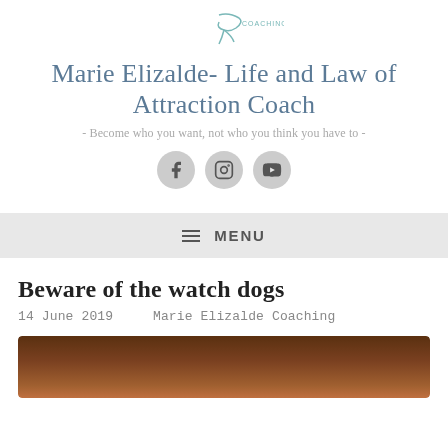[Figure (logo): Marie Elizalde coaching website logo - partial view at top]
Marie Elizalde- Life and Law of Attraction Coach
- Become who you want, not who you think you have to -
[Figure (infographic): Social media icons: Facebook, Instagram, YouTube]
MENU
Beware of the watch dogs
14 June 2019   Marie Elizalde Coaching
[Figure (photo): Photo of a dog - partially visible at bottom of page]